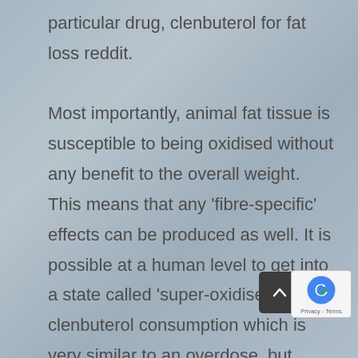particular drug, clenbuterol for fat loss reddit. Most importantly, animal fat tissue is susceptible to being oxidised without any benefit to the overall weight. This means that any 'fibre-specific' effects can be produced as well. It is possible at a human level to get into a state called 'super-oxidised' by clenbuterol consumption which is very similar to an overdose, but which does not cause any obvious damage in the body, clenbuterol for weight loss australia. This state of super-oxidised fat can last for a long period of time. If you get